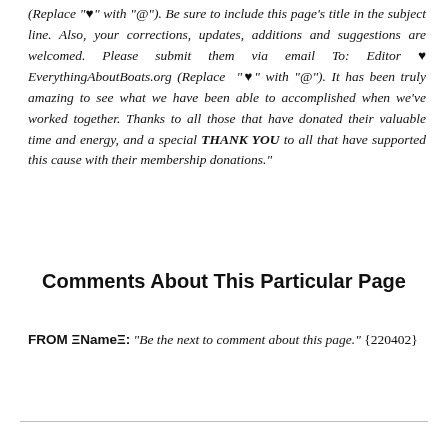(Replace "♥" with "@"). Be sure to include this page's title in the subject line. Also, your corrections, updates, additions and suggestions are welcomed. Please submit them via email To: Editor ♥ EverythingAboutBoats.org (Replace "♥" with "@"). It has been truly amazing to see what we have been able to accomplished when we've worked together. Thanks to all those that have donated their valuable time and energy, and a special THANK YOU to all that have supported this cause with their membership donations."
Comments About This Particular Page
FROM ΞNameΞ: "Be the next to comment about this page." {220402}